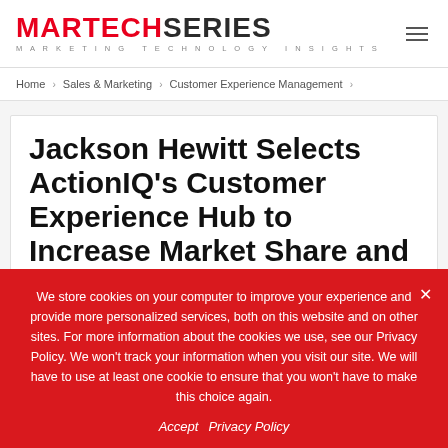MARTECHSERIES - MARKETING TECHNOLOGY INSIGHTS
Home > Sales & Marketing > Customer Experience Management >
Jackson Hewitt Selects ActionIQ's Customer Experience Hub to Increase Market Share and Focus on Customer
We store cookies on your computer to improve your experience and provide more personalized services, both on this website and on other sites. For more information about the cookies we use, see our Privacy Policy. We won't track your information when you visit our site. We will have to use at least one cookie to ensure that you won't have to make this choice again.
Accept  Privacy Policy